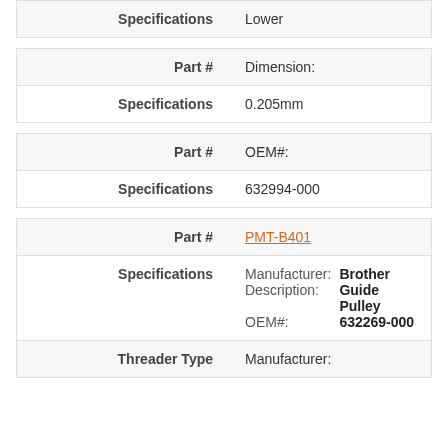| Label | Value |
| --- | --- |
| Specifications | Lower |
| Label | Value |
| --- | --- |
| Part # | Dimension: |
| Specifications | 0.205mm |
| Label | Value |
| --- | --- |
| Part # | OEM#: |
| Specifications | 632994-000 |
| Label | Value |
| --- | --- |
| Part # | PMT-B401 |
| Specifications | Manufacturer: Brother
Description: Guide Pulley
OEM#: 632269-000 |
| Threader Type | Manufacturer: |